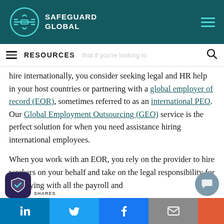[Figure (logo): Safeguard Global logo with circular arrow icon and company name in white on teal background]
RESOURCES
hire internationally, you consider seeking legal and HR help in your host countries or partnering with a global employer of record (EOR), sometimes referred to as an international PEO. Our Global Employment Outsourcing (GEO) service is the perfect solution for when you need assistance hiring international employees.
When you work with an EOR, you rely on the provider to hire workers on your behalf and take on the legal responsibility for complying with all the payroll and